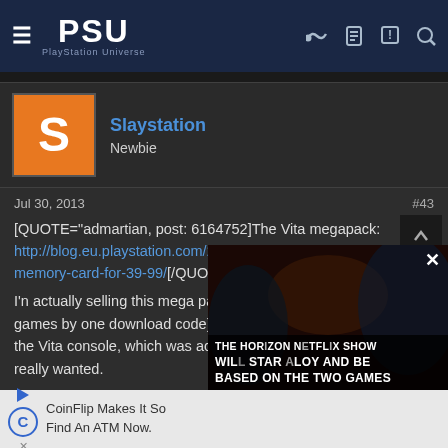PSU PlayStation Universe
[Figure (screenshot): User avatar: orange square with white letter S]
Slaystation
Newbie
Jul 30, 2013	#43
[QUOTE="admartian, post: 6164752]The Vita megapack: http://blog.eu.playstation.com/2013...ck-10-games-and-an-8gb-memory-card-for-39-99/[/QUOTE]
I'n actually selling this mega pack at the moment (all games by one download code). ...I got it in a bundle with the Vita console, which was actually the only thing I really wanted.

If anyone is interested, send me a message.

btt:
Unit 13 is highly recommendable!! My fav
[Figure (screenshot): Video overlay: THE HORIZON NETFLIX SHOW WILL STAR ALOY AND BE BASED ON THE TWO GAMES]
CoinFlip Makes It So Find An ATM Now.